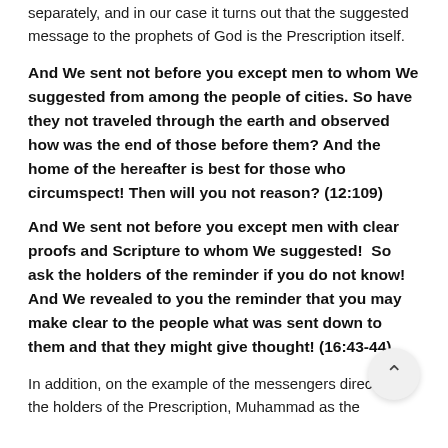separately, and in our case it turns out that the suggested message to the prophets of God is the Prescription itself.
And We sent not before you except men to whom We suggested from among the people of cities. So have they not traveled through the earth and observed how was the end of those before them? And the home of the hereafter is best for those who circumspect! Then will you not reason? (12:109)
And We sent not before you except men with clear proofs and Scripture to whom We suggested!  So ask the holders of the reminder if you do not know! And We revealed to you the reminder that you may make clear to the people what was sent down to them and that they might give thought! (16:43-44)
In addition, on the example of the messengers directed to the holders of the Prescription, Muhammad as the